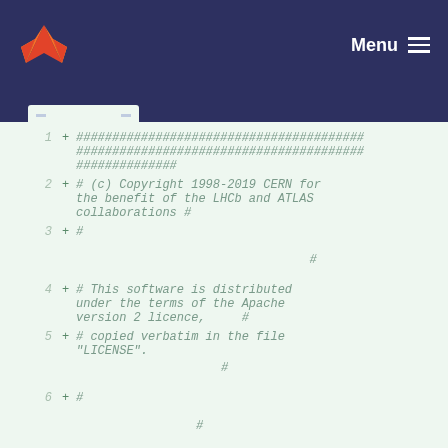Menu
1 + ########################################################################################################
2 + # (c) Copyright 1998-2019 CERN for the benefit of the LHCb and ATLAS collaborations #
3 + #
                #
4 + # This software is distributed under the terms of the Apache version 2 licence,     #
5 + # copied verbatim in the file "LICENSE".
                #
6 + #
                #
7 + # In applying this licence, CERN